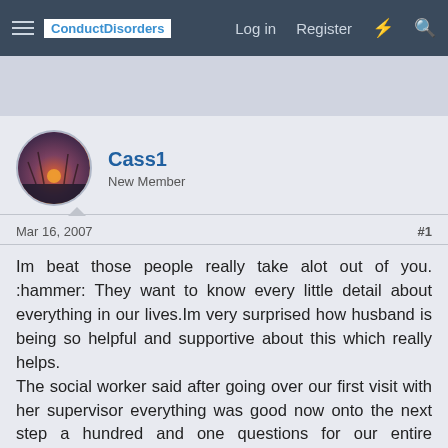ConductDisorders | Log in | Register
Cass1
New Member
Mar 16, 2007   #1
Im beat those people really take alot out of you. :hammer: They want to know every little detail about everything in our lives.Im very surprised how husband is being so helpful and supportive about this which really helps.
The social worker said after going over our first visit with her supervisor everything was good now onto the next step a hundred and one questions for our entire family.After 3 hours we got through that now she will go over this visit with her supervisor and see how that goes.husband and I also had to go fill out forms for a police check and that is about